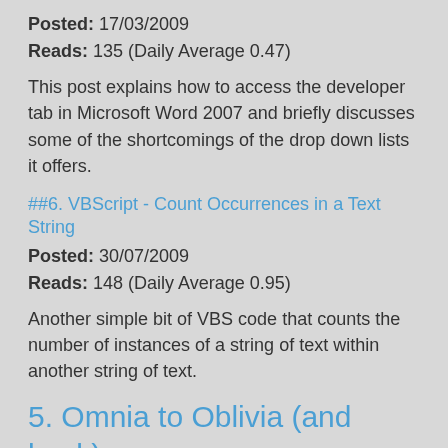Posted: 17/03/2009
Reads: 135 (Daily Average 0.47)
This post explains how to access the developer tab in Microsoft Word 2007 and briefly discusses some of the shortcomings of the drop down lists it offers.
##6. VBScript - Count Occurrences in a Text String
Posted: 30/07/2009
Reads: 148 (Daily Average 0.95)
Another simple bit of VBS code that counts the number of instances of a string of text within another string of text.
5. Omnia to Oblivia (and back)
Posted: 05/04/2009
Reads: 151 (Daily Average 0.56)
I have a Samsung Omnia mobile phone and have had a number of issues with it.  This describes how I resolved